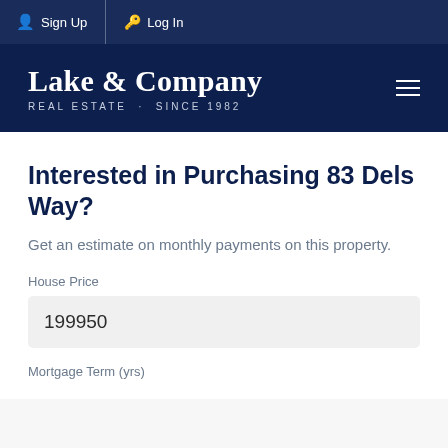Sign Up  Log In
[Figure (logo): Lake & Company Real Estate logo with text 'Lake & Company' and subtitle 'REAL ESTATE · SINCE 1982' on dark navy background]
Interested in Purchasing 83 Dels Way?
Get an estimate on monthly payments on this property.
House Price
199950
Mortgage Term (yrs)